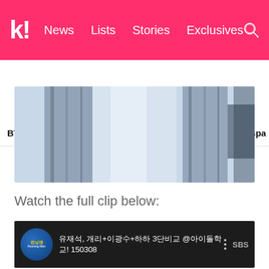K! News  Lists  Stories  Exclusives
BTS  BLACKPINK  Girls' Generation  NCT  TWICE  aespa
[Figure (photo): Close-up image of fabric/clothing in blue-grey tones, appears to be a cropped editorial or K-pop related photo]
Watch the full clip below:
[Figure (screenshot): YouTube video thumbnail with dark background showing Korean text and '150308' in white, with a blue circle channel logo for 런닝맨 (Running Man) on the left and SBS branding on the right]